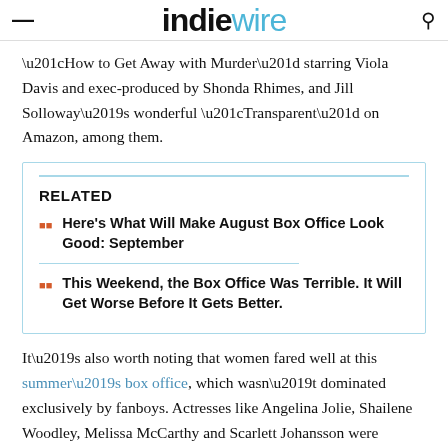IndieWire
“How to Get Away with Murder” starring Viola Davis and exec-produced by Shonda Rhimes, and Jill Solloway’s wonderful “Transparent” on Amazon, among them.
RELATED
Here's What Will Make August Box Office Look Good: September
This Weekend, the Box Office Was Terrible. It Will Get Worse Before It Gets Better.
It’s also worth noting that women fared well at this summer’s box office, which wasn’t dominated exclusively by fanboys. Actresses like Angelina Jolie, Shailene Woodley, Melissa McCarthy and Scarlett Johansson were stronger draws than their male cohorts — and had front